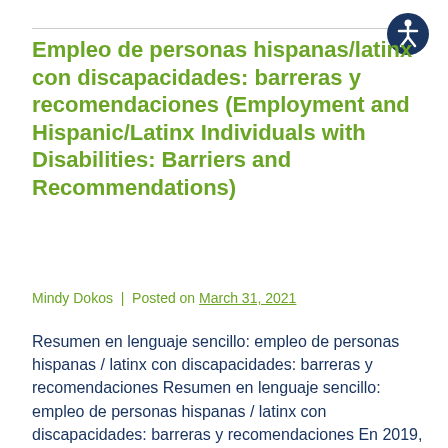Empleo de personas hispanas/latinx con discapacidades: barreras y recomendaciones (Employment and Hispanic/Latinx Individuals with Disabilities: Barriers and Recommendations)
Mindy Dokos | Posted on March 31, 2021
Resumen en lenguaje sencillo: empleo de personas hispanas / latinx con discapacidades: barreras y recomendaciones Resumen en lenguaje sencillo: empleo de personas hispanas / latinx con discapacidades: barreras y recomendaciones En 2019, solo 1 de cada 5 personas con discapacidad estaba con